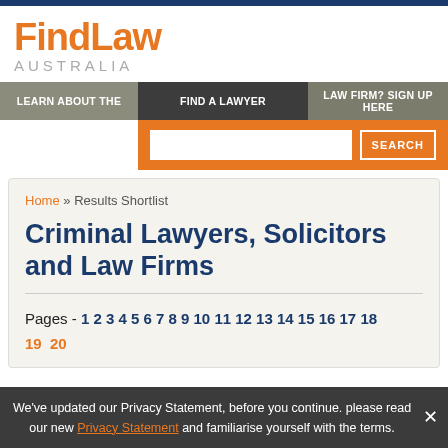FindLaw AUSTRALIA
LEARN ABOUT THE | FIND A LAWYER | LAW FIRM? SIGN UP HERE
SEARCH
Home » Results Shortlist
Criminal Lawyers, Solicitors and Law Firms
Pages - 1 2 3 4 5 6 7 8 9 10 11 12 13 14 15 16 17 18 19 20
We've updated our Privacy Statement, before you continue. please read our new Privacy Statement and familiarise yourself with the terms.